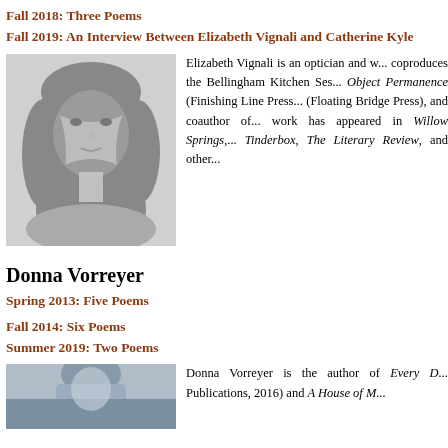Fall 2018: Three Poems
Fall 2019: An Interview Between Elizabeth Vignali and Catherine Kyle
[Figure (photo): Black and white portrait photo of Elizabeth Vignali, a woman with curly hair]
Elizabeth Vignali is an optician and w... coproduces the Bellingham Kitchen Ses... Object Permanence (Finishing Line Press... (Floating Bridge Press), and coauthor of... work has appeared in Willow Springs,... Tinderbox, The Literary Review, and other...
Donna Vorreyer
Spring 2013: Five Poems
Fall 2014: Six Poems
Summer 2019: Two Poems
[Figure (photo): Partial photo of Donna Vorreyer, cropped at bottom of page]
Donna Vorreyer is the author of Every D... Publications, 2016) and A House of M...